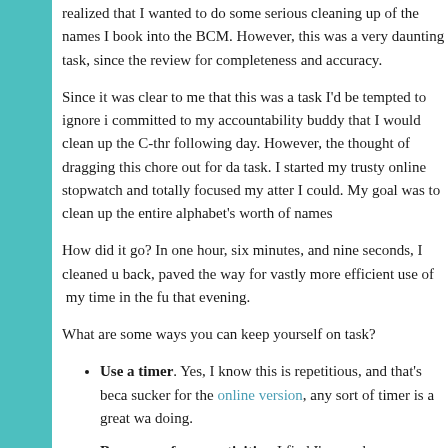realized that I wanted to do some serious cleaning up of the names I book into the BCM.  However, this was a very daunting task, since the review for completeness and accuracy.
Since it was clear to me that this was a task I'd be tempted to ignore if committed to my accountability buddy that I would clean up the C-thr following day.  However, the thought of dragging this chore out for da task. I started my trusty online stopwatch and totally focused my atter I could.  My goal was to clean up the entire alphabet's worth of names
How did it go? In one hour, six minutes, and nine seconds, I cleaned u back, paved the way for vastly more efficient use of  my time in the fu that evening.
What are some ways you can keep yourself on task?
Use a timer. Yes, I know this is repetitious, and that's beca sucker for the online version, any sort of timer is a great wa doing.
Be aware of your activities. I find I'm much more efficien that looks on, like an outside observer, so I quickly notice w activities.